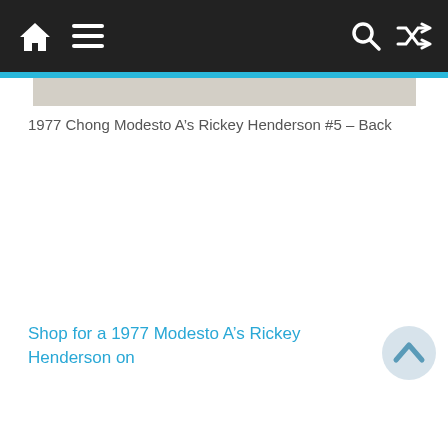Navigation bar with home, menu, search, and shuffle icons
[Figure (photo): Partial view of the back of a 1977 Chong Modesto A's Rickey Henderson #5 baseball card, showing a light beige/cream colored card back]
1977 Chong Modesto A’s Rickey Henderson #5 – Back
Shop for a 1977 Modesto A’s Rickey Henderson on